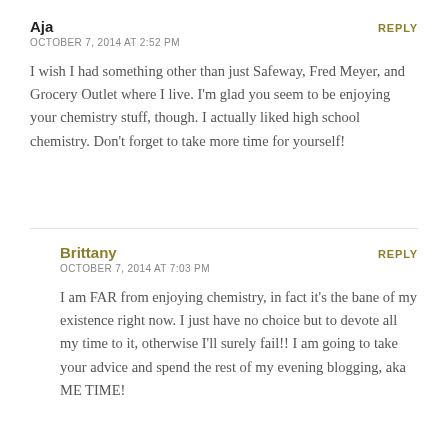Aja
October 7, 2014 at 2:52 PM
REPLY
I wish I had something other than just Safeway, Fred Meyer, and Grocery Outlet where I live. I'm glad you seem to be enjoying your chemistry stuff, though. I actually liked high school chemistry. Don't forget to take more time for yourself!
Brittany
October 7, 2014 at 7:03 PM
REPLY
I am FAR from enjoying chemistry, in fact it's the bane of my existence right now. I just have no choice but to devote all my time to it, otherwise I'll surely fail!! I am going to take your advice and spend the rest of my evening blogging, aka ME TIME!